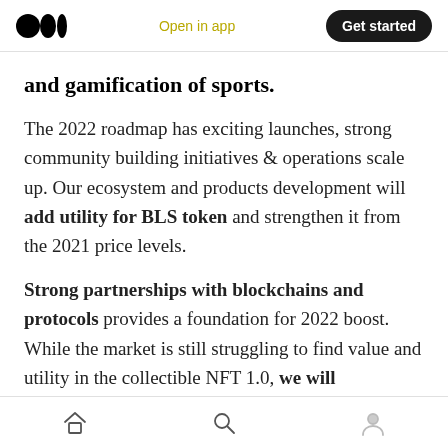Open in app | Get started
and gamification of sports.
The 2022 roadmap has exciting launches, strong community building initiatives & operations scale up. Our ecosystem and products development will add utility for BLS token and strengthen it from the 2021 price levels.
Strong partnerships with blockchains and protocols provides a foundation for 2022 boost. While the market is still struggling to find value and utility in the collectible NFT 1.0, we will
home | search | profile